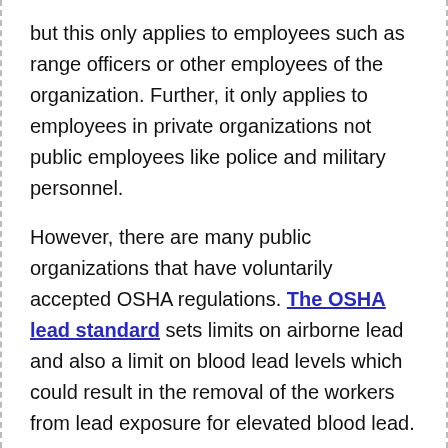but this only applies to employees such as range officers or other employees of the organization. Further, it only applies to employees in private organizations not public employees like police and military personnel.
However, there are many public organizations that have voluntarily accepted OSHA regulations. The OSHA lead standard sets limits on airborne lead and also a limit on blood lead levels which could result in the removal of the workers from lead exposure for elevated blood lead.
Army and Air Force National Guard Guidelines